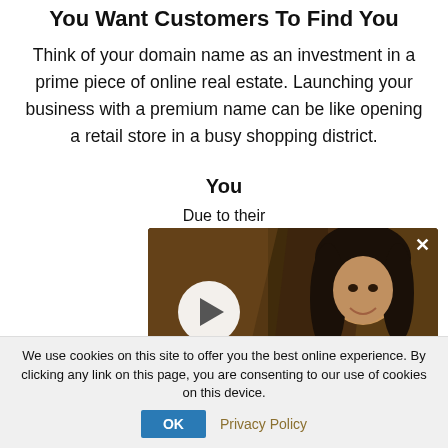You Want Customers To Find You
Think of your domain name as an investment in a prime piece of online real estate. Launching your business with a premium name can be like opening a retail store in a busy shopping district.
You
Due to their premium dom in traffic. Y established pr
[Figure (photo): Video overlay showing a person with long curly dark hair, smiling, wearing a patterned shirt. A play button is displayed in the lower left. A gold/brown footer bar and a close (X) button in the upper right corner.]
We use cookies on this site to offer you the best online experience. By clicking any link on this page, you are consenting to our use of cookies on this device.
OK   Privacy Policy